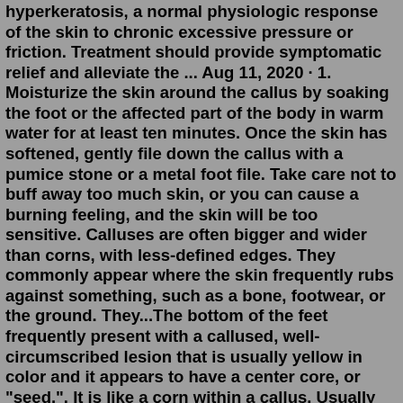hyperkeratosis, a normal physiologic response of the skin to chronic excessive pressure or friction. Treatment should provide symptomatic relief and alleviate the ... Aug 11, 2020 · 1. Moisturize the skin around the callus by soaking the foot or the affected part of the body in warm water for at least ten minutes. Once the skin has softened, gently file down the callus with a pumice stone or a metal foot file. Take care not to buff away too much skin, or you can cause a burning feeling, and the skin will be too sensitive. Calluses are often bigger and wider than corns, with less-defined edges. They commonly appear where the skin frequently rubs against something, such as a bone, footwear, or the ground. They...The bottom of the feet frequently present with a callused, well-circumscribed lesion that is usually yellow in color and it appears to have a center core, or "seed.". It is like a corn within a callus. Usually calluses arise from pressure created over a bony prominences. However, the porokeratosis grows in odd places, like in the arch or at ...Corn vs Callus